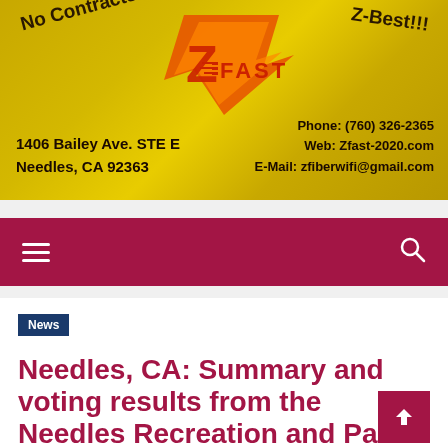[Figure (logo): Z-Fast internet service provider advertisement banner with golden background, orange/red lightning bolt Z logo. Text: No Contracts!, Z-Best!!!, 1406 Bailey Ave. STE E, Needles, CA 92363, Phone: (760) 326-2365, Web: Zfast-2020.com, E-Mail: zfiberwifi@gmail.com]
Navigation bar with hamburger menu and search icon
News
Needles, CA: Summary and voting results from the Needles Recreation and Parks